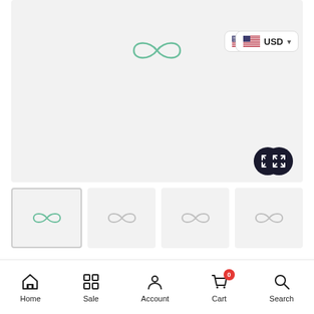[Figure (screenshot): Main product image area with loading/infinity logo placeholder, light gray background]
[Figure (screenshot): Currency selector button showing US flag and USD with dropdown chevron]
[Figure (screenshot): Expand/fullscreen button, dark circle with white expand arrows icon]
[Figure (screenshot): Thumbnail strip with 4 image thumbnails, first selected with border, all showing loading infinity placeholders]
[Figure (screenshot): Bottom navigation bar with Home, Sale, Account, Cart (badge 0), Search icons and labels]